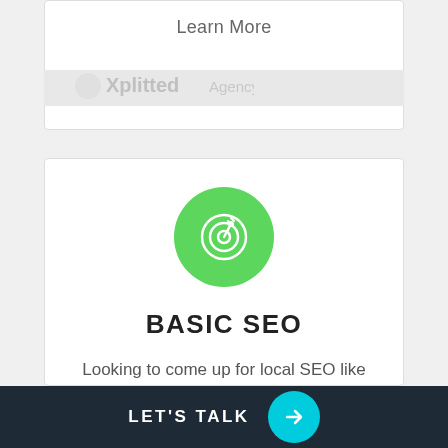Learn More
[Figure (logo): Xplitted logo or brand name partially visible]
[Figure (illustration): Green circle icon with target/SEO dart board symbol]
BASIC SEO
Looking to come up for local SEO like web designers in Observatory, or social media agencies near me? We offer basic SEO for all types of businesses.
Learn More
LET'S TALK